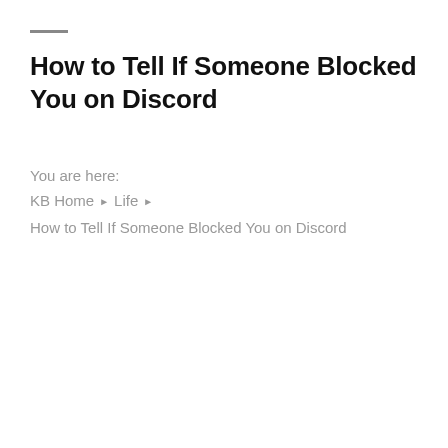How to Tell If Someone Blocked You on Discord
You are here:
KB Home ▶ Life ▶
How to Tell If Someone Blocked You on Discord